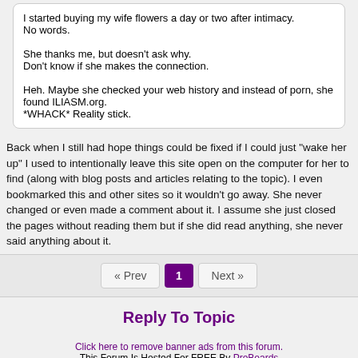I started buying my wife flowers a day or two after intimacy. No words.

She thanks me, but doesn't ask why. Don't know if she makes the connection.

Heh. Maybe she checked your web history and instead of porn, she found ILIASM.org. *WHACK* Reality stick.
Back when I still had hope things could be fixed if I could just "wake her up" I used to intentionally leave this site open on the computer for her to find (along with blog posts and articles relating to the topic). I even bookmarked this and other sites so it wouldn't go away. She never changed or even made a comment about it. I assume she just closed the pages without reading them but if she did read anything, she never said anything about it.
« Prev  1  Next »
Reply To Topic
Click here to remove banner ads from this forum.
This Forum Is Hosted For FREE By ProBoards
Get Your Own Free Forum!
Terms of Service  Privacy  Cookies  FTC Disclosure  Report Abuse  Do Not Sell My Personal Information